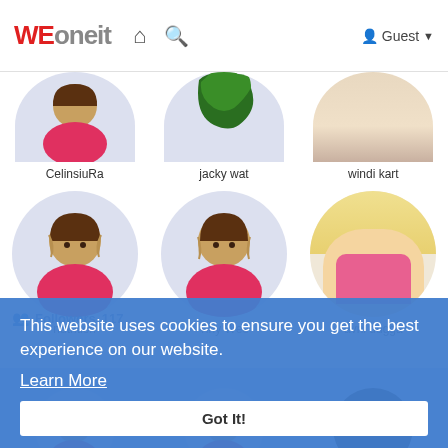WEoneit — Guest
[Figure (screenshot): Website screenshot showing WEoneit social platform with user profile grid. Top row shows partial avatars for CelinsiuRa, jacky wat, windi kart. Second row shows avatars for nutrition, Tiny Wee, avni dugga. Cookie consent banner overlays lower portion reading 'This website uses cookies to ensure you get the best experience on our website. Learn More' with Got It! button.]
CelinsiuRa
jacky wat
windi kart
nutrition
Tiny Wee
avni dugga
Followers 117
This website uses cookies to ensure you get the best experience on our website.
Learn More
Got It!